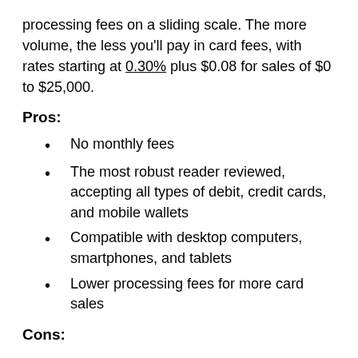processing fees on a sliding scale. The more volume, the less you'll pay in card fees, with rates starting at 0.30% plus $0.08 for sales of $0 to $25,000.
Pros:
No monthly fees
The most robust reader reviewed, accepting all types of debit, credit cards, and mobile wallets
Compatible with desktop computers, smartphones, and tablets
Lower processing fees for more card sales
Cons: